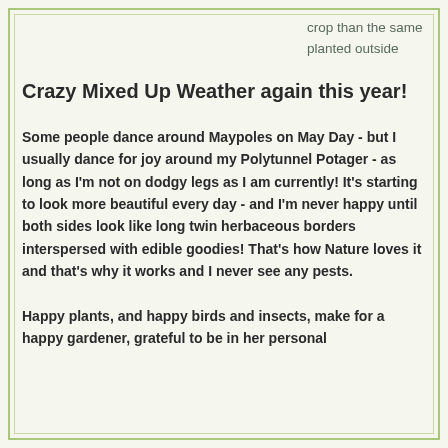crop than the same planted outside
Crazy Mixed Up Weather again this year!
Some people dance around Maypoles on May Day - but I usually dance for joy around my Polytunnel Potager - as long as I'm not on dodgy legs as I am currently!  It's starting to look more beautiful every day - and I'm never happy until both sides look like long twin herbaceous borders interspersed with edible goodies!  That's how Nature loves it and that's why it works and I never see any pests.
Happy plants, and happy birds and insects, make for a happy gardener, grateful to be in her personal